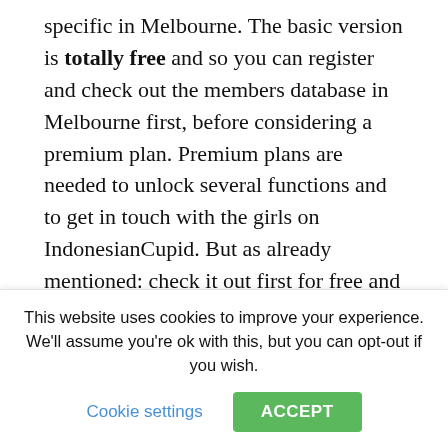specific in Melbourne. The basic version is totally free and so you can register and check out the members database in Melbourne first, before considering a premium plan. Premium plans are needed to unlock several functions and to get in touch with the girls on IndonesianCupid. But as already mentioned: check it out first for free and if you like what you see, opt for the premium plan, it will not cost you a fortune...
[Figure (illustration): Partial view of a user avatar/profile image circle at bottom of article content area]
This website uses cookies to improve your experience. We'll assume you're ok with this, but you can opt-out if you wish. Cookie settings ACCEPT